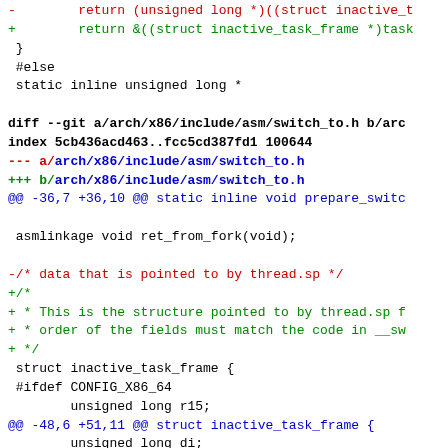Diff output showing changes to arch/x86/include/asm/switch_to.h in a git patch format, including removal and addition of return statements, struct inactive_task_frame changes, and field additions.